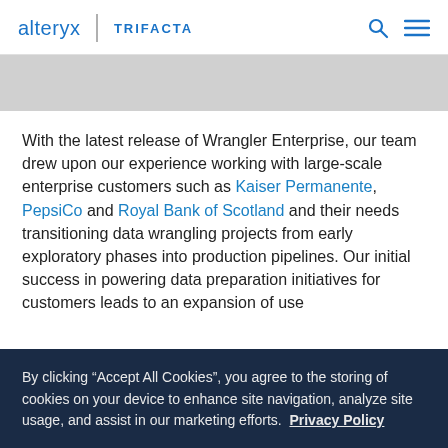alteryx | TRIFACTA
With the latest release of Wrangler Enterprise, our team drew upon our experience working with large-scale enterprise customers such as Kaiser Permanente, PepsiCo and Royal Bank of Scotland and their needs transitioning data wrangling projects from early exploratory phases into production pipelines. Our initial success in powering data preparation initiatives for customers leads to an expansion of use
By clicking “Accept All Cookies”, you agree to the storing of cookies on your device to enhance site navigation, analyze site usage, and assist in our marketing efforts. Privacy Policy